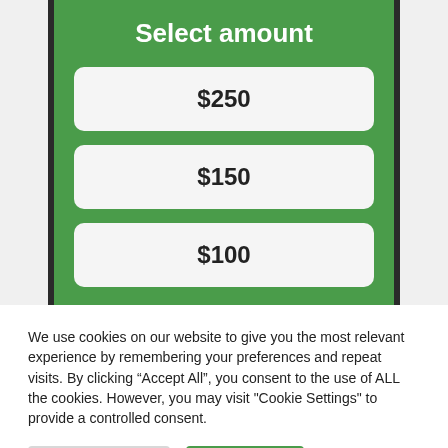Select amount
$250
$150
$100
We use cookies on our website to give you the most relevant experience by remembering your preferences and repeat visits. By clicking “Accept All”, you consent to the use of ALL the cookies. However, you may visit "Cookie Settings" to provide a controlled consent.
Cookie Settings
Accept All